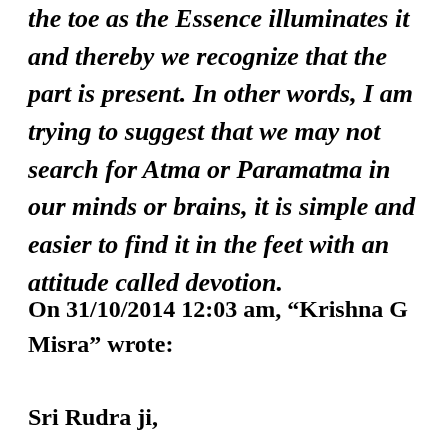the toe as the Essence illuminates it and thereby we recognize that the part is present. In other words, I am trying to suggest that we may not search for Atma or Paramatma in our minds or brains, it is simple and easier to find it in the feet with an attitude called devotion.
On 31/10/2014 12:03 am, “Krishna G Misra” wrote:
Sri Rudra ji,